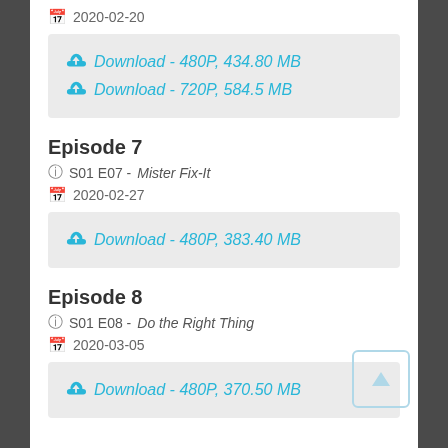📅 2020-02-20
⬇ Download - 480P, 434.80 MB
⬇ Download - 720P, 584.5 MB
Episode 7
ℹ S01 E07 - Mister Fix-It
📅 2020-02-27
⬇ Download - 480P, 383.40 MB
Episode 8
ℹ S01 E08 - Do the Right Thing
📅 2020-03-05
⬇ Download - 480P, 370.50 MB
[Figure (other): Scroll-to-top button with upward triangle arrow inside a rounded rectangle border]